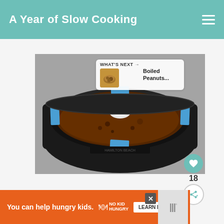A Year of Slow Cooking
[Figure (photo): Top-down view of a slow cooker with a glass lid held down by blue painter's tape at four points. The contents inside appear to be a dark brown braised or stewed dish. The lid has a white knob handle in the center.]
WHAT'S NEXT → Boiled Peanuts...
You can help hungry kids.  NO KID HUNGRY  LEARN HOW